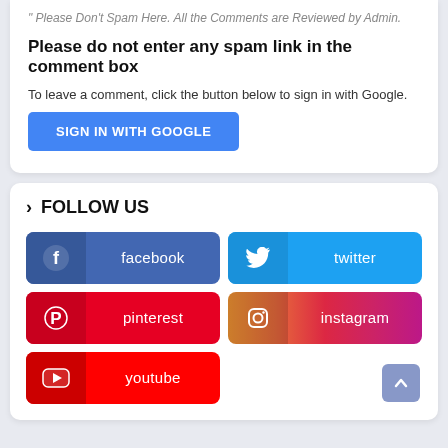" Please Don't Spam Here. All the Comments are Reviewed by Admin.
Please do not enter any spam link in the comment box
To leave a comment, click the button below to sign in with Google.
[Figure (screenshot): SIGN IN WITH GOOGLE button (blue)]
> FOLLOW US
[Figure (infographic): Social media follow buttons: facebook, twitter, pinterest, instagram, youtube]